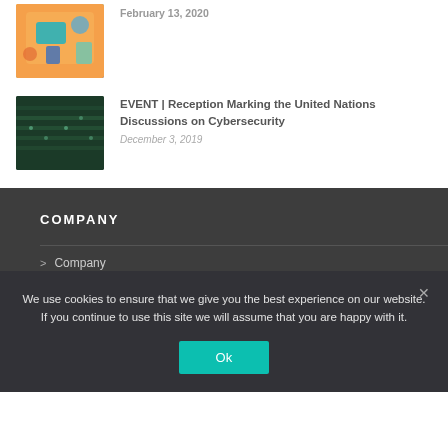[Figure (illustration): Colorful cybersecurity-themed illustration with orange/teal background, partially cropped at top]
EVENT | Reception Marking the United Nations Discussions on Cybersecurity
December 3, 2019
[Figure (photo): Photo of United Nations assembly hall with delegates seated]
COMPANY
> Company
We use cookies to ensure that we give you the best experience on our website. If you continue to use this site we will assume that you are happy with it.